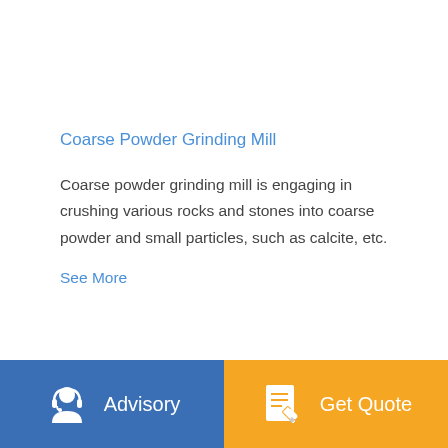Coarse Powder Grinding Mill
Coarse powder grinding mill is engaging in crushing various rocks and stones into coarse powder and small particles, such as calcite, etc.
See More
Advisory | Get Quote